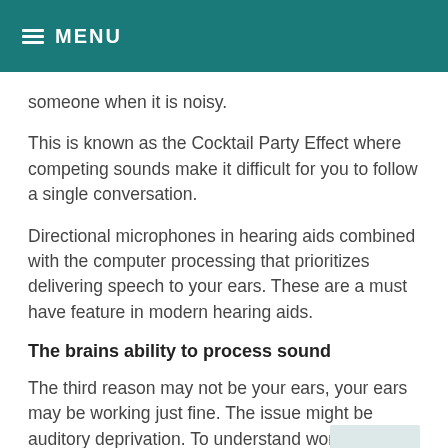MENU
someone when it is noisy.
This is known as the Cocktail Party Effect where competing sounds make it difficult for you to follow a single conversation.
Directional microphones in hearing aids combined with the computer processing that prioritizes delivering speech to your ears. These are a must have feature in modern hearing aids.
The brains ability to process sound
The third reason may not be your ears, your ears may be working just fine. The issue might be auditory deprivation. To understand words it is necessary to hear all the speech sounds, transmit them to the